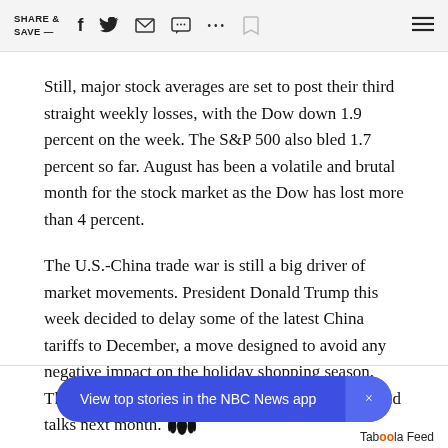SHARE & SAVE —  [social icons]
Still, major stock averages are set to post their third straight weekly losses, with the Dow down 1.9 percent on the week. The S&P 500 also bled 1.7 percent so far. August has been a volatile and brutal month for the stock market as the Dow has lost more than 4 percent.
The U.S.-China trade war is still a big driver of market movements. President Donald Trump this week decided to delay some of the latest China tariffs to December, a move designed to avoid any negative impact on the holiday shopping season. The president also confirmed the two sides will hold talks next month. [NBC logo]
View top stories in the NBC News app
Taboola Feed